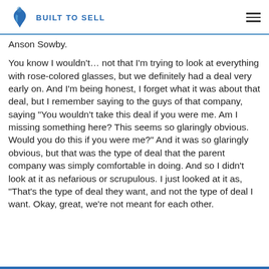BUILT TO SELL
Anson Sowby.
You know I wouldn’t… not that I’m trying to look at everything with rose-colored glasses, but we definitely had a deal very early on. And I’m being honest, I forget what it was about that deal, but I remember saying to the guys of that company, saying “You wouldn’t take this deal if you were me. Am I missing something here? This seems so glaringly obvious. Would you do this if you were me?” And it was so glaringly obvious, but that was the type of deal that the parent company was simply comfortable in doing. And so I didn’t look at it as nefarious or scrupulous. I just looked at it as, “That’s the type of deal they want, and not the type of deal I want. Okay, great, we’re not meant for each other.